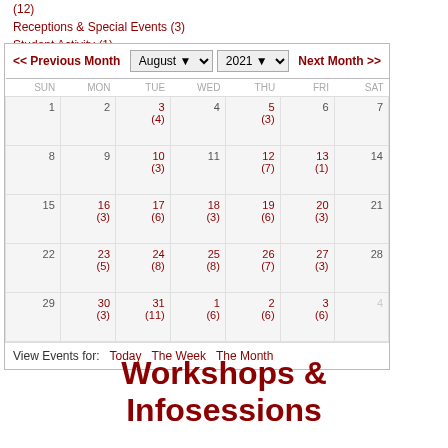(12)
Receptions & Special Events (3)
Student Activity (1)
[Figure (other): August 2021 calendar widget showing days 1-31 with event counts in parentheses, navigation controls, and view options for Today, The Week, The Month]
Workshops & Infosessions